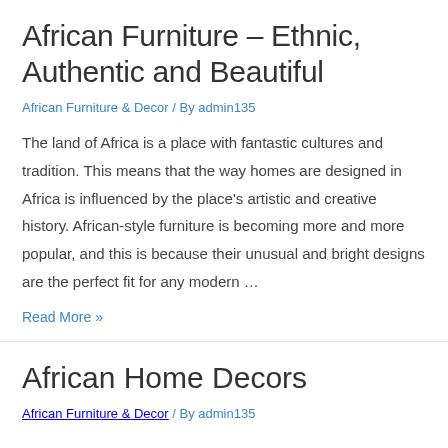African Furniture – Ethnic, Authentic and Beautiful
African Furniture & Decor / By admin135
The land of Africa is a place with fantastic cultures and tradition. This means that the way homes are designed in Africa is influenced by the place's artistic and creative history. African-style furniture is becoming more and more popular, and this is because their unusual and bright designs are the perfect fit for any modern …
Read More »
African Home Decors
African Furniture & Decor / By admin135